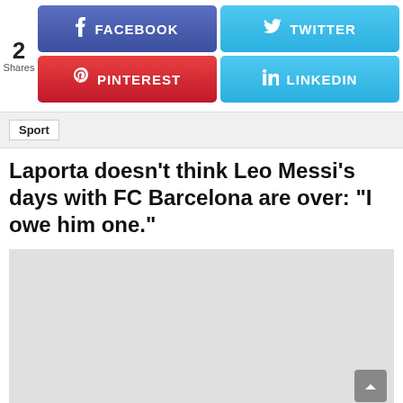[Figure (screenshot): Social share bar with Facebook, Twitter, Pinterest, LinkedIn buttons and a share count of 2]
Sport
Laporta doesn't think Leo Messi's days with FC Barcelona are over: "I owe him one."
[Figure (photo): Gray placeholder image area]